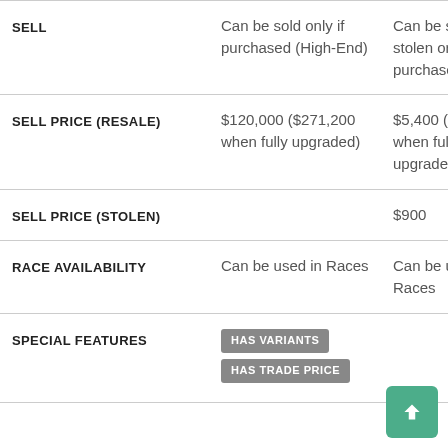|  | Column 1 | Column 2 |
| --- | --- | --- |
| SELL | Can be sold only if purchased (High-End) | Can be sold if stolen or purchased |
| SELL PRICE (RESALE) | $120,000 ($271,200 when fully upgraded) | $5,400 ($71,500 when fully upgraded) |
| SELL PRICE (STOLEN) |  | $900 |
| RACE AVAILABILITY | Can be used in Races | Can be used in Races |
| SPECIAL FEATURES | HAS VARIANTS
HAS TRADE PRICE |  |